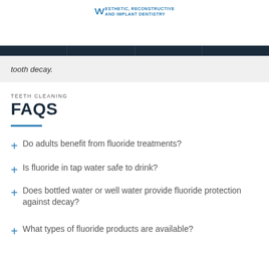ESTHETIC, RECONSTRUCTIVE AND IMPLANT DENTISTRY
[Figure (screenshot): Navigation bar with dark background showing hamburger menu, phone icon, calendar icon, and ellipsis icons]
tooth decay.
TEETH CLEANING
FAQS
Do adults benefit from fluoride treatments?
Is fluoride in tap water safe to drink?
Does bottled water or well water provide fluoride protection against decay?
What types of fluoride products are available?